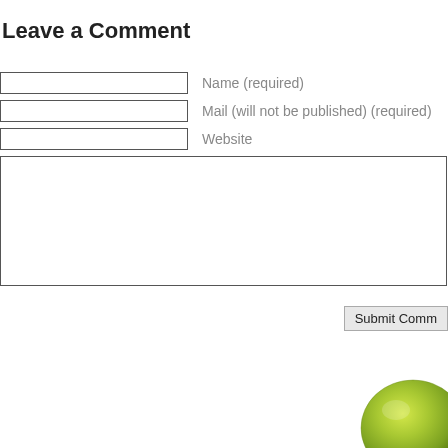Leave a Comment
Name (required)
Mail (will not be published) (required)
Website
Submit Comment
[Figure (photo): Partial view of a yellow-green fruit (lemon or similar) in the bottom-right corner of the page]